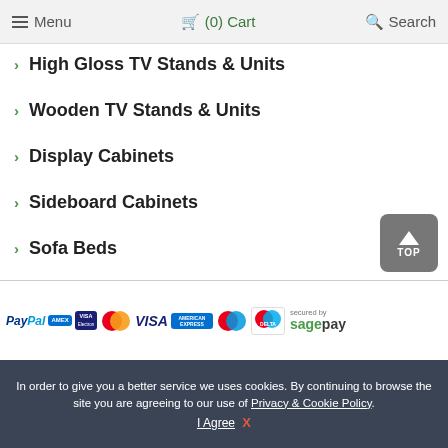Menu  (0) Cart  Search
High Gloss TV Stands & Units
Wooden TV Stands & Units
Display Cabinets
Sideboard Cabinets
Sofa Beds
Console Tables
Coat Stands
Bar Table and Stools Sets
Wooden Computer Desks & Tables
Home & Office Chairs
Outdoor & Garden Furniture
[Figure (other): Payment method logos: PayPal, Amex, Visa Electron, Mastercard, Visa, American Express, Maestro, Delta, secured by SagePay]
In order to give you a better service we uses cookies. By continuing to browse the site you are agreeing to our use of Privacy & Cookie Policy. I Agree  X